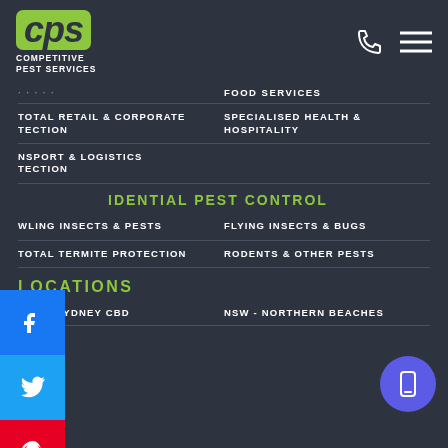[Figure (logo): CPS Competitive Pest Services logo - green rounded rectangle with CPS text and company name below]
FOOD SERVICES
TOTAL RETAIL & CORPORATE [PROTECTION]
SPECIALISED HEALTH & HOSPITALITY
[TRANSPORT & LOGISTICS] [PROTECTION]
[RE]SIDENTIAL PEST CONTROL
[CRAW]LING INSECTS & PESTS
FLYING INSECTS & BUGS
TOTAL TERMITE PROTECTION
RODENTS & OTHER PESTS
LOCATIONS
NSW - SYDNEY CBD
NSW - NORTHERN BEACHES
[Figure (infographic): Social media sidebar buttons: Facebook, Twitter, Pinterest, LinkedIn]
[Figure (other): Blue circular mobile/phone button in bottom right]